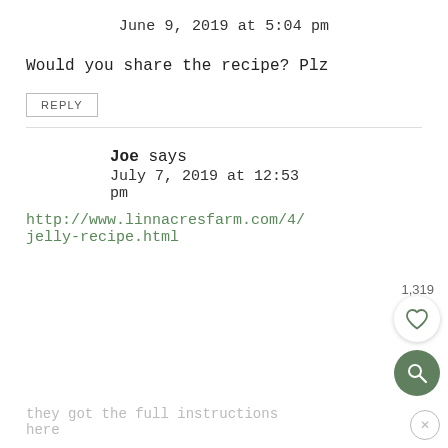June 9, 2019 at 5:04 pm
Would you share the recipe? Plz
REPLY
Joe says
July 7, 2019 at 12:53 pm
http://www.linnacresfarm.com/4/jelly-recipe.html
1,319
they got the full instructions here